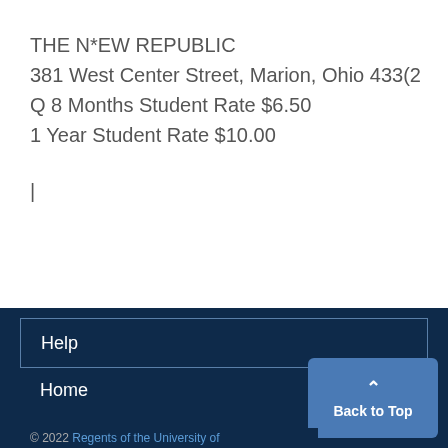THE N*EW REPUBLIC
381 West Center Street, Marion, Ohio 433(2
Q 8 Months Student Rate $6.50
1 Year Student Rate $10.00
|
Help
Home
© 2022 Regents of the University of
Back to Top